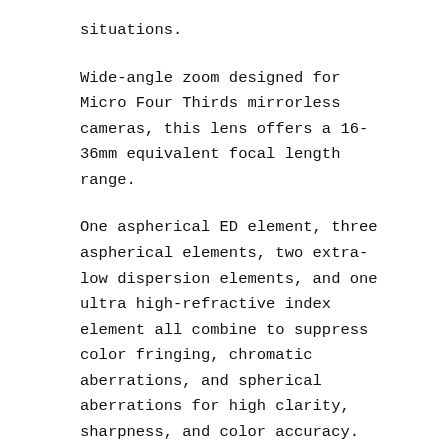situations.
Wide-angle zoom designed for Micro Four Thirds mirrorless cameras, this lens offers a 16-36mm equivalent focal length range.
One aspherical ED element, three aspherical elements, two extra-low dispersion elements, and one ultra high-refractive index element all combine to suppress color fringing, chromatic aberrations, and spherical aberrations for high clarity, sharpness, and color accuracy.
Nano Surface Coating has been applied to individual elements to control lens flare and ghosting for improved contrast and color fidelity when working in strong lighting conditions.
Fast 240 fps autofocus drive delivers smooth, accurate,